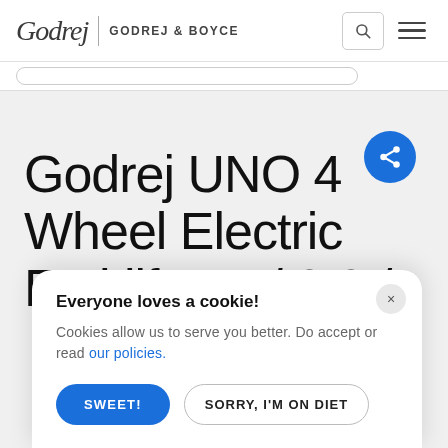Godrej | GODREJ & BOYCE
Godrej UNO 4 Wheel Electric Forklift 1.5 / 2.0 /
Everyone loves a cookie!
Cookies allow us to serve you better. Do accept or read our policies.
SWEET! | SORRY, I'M ON DIET